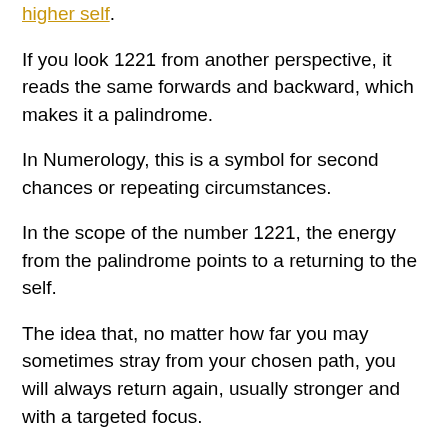higher self.
If you look 1221 from another perspective, it reads the same forwards and backward, which makes it a palindrome.
In Numerology, this is a symbol for second chances or repeating circumstances.
In the scope of the number 1221, the energy from the palindrome points to a returning to the self.
The idea that, no matter how far you may sometimes stray from your chosen path, you will always return again, usually stronger and with a targeted focus.